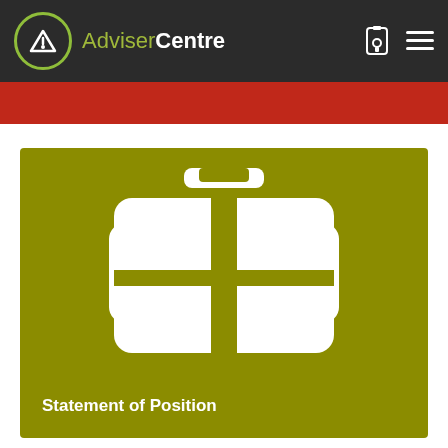Adviser Centre
[Figure (logo): AdviserCentre logo with briefcase icon and 'Statement of Position' label on olive green card]
Statement of Position